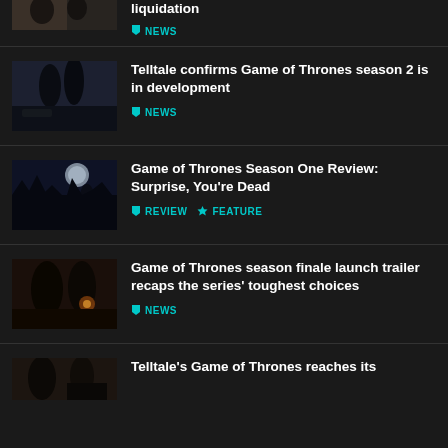[Figure (photo): Partial top article thumbnail - cropped game characters]
liquidation
NEWS
[Figure (photo): Game of Thrones characters - Jon Snow style figures in dark setting]
Telltale confirms Game of Thrones season 2 is in development
NEWS
[Figure (photo): Dark forest scene with figures, moonlit background]
Game of Thrones Season One Review: Surprise, You're Dead
REVIEW  FEATURE
[Figure (photo): Game of Thrones characters in dark dramatic scene with torchlight]
Game of Thrones season finale launch trailer recaps the series' toughest choices
NEWS
[Figure (photo): Partial bottom article thumbnail - Telltale Game of Thrones]
Telltale's Game of Thrones reaches its